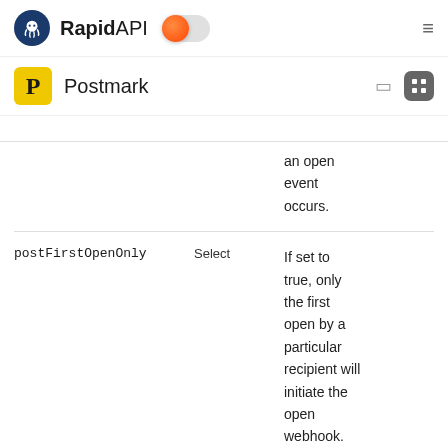RapidAPI — Postmark
an open event occurs.
| Parameter | Type | Description |
| --- | --- | --- |
| postFirstOpenOnly | Select | If set to true, only the first open by a particular recipient will initiate the open webhook. Any subsequent opens of the same |